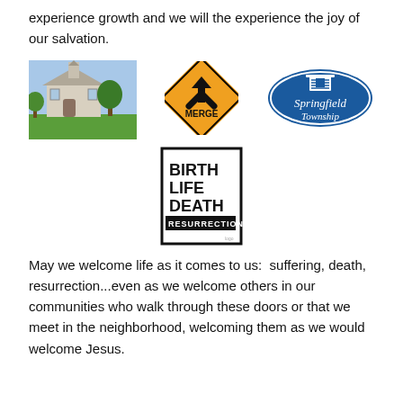experience growth and we will the experience the joy of our salvation.
[Figure (photo): Photo of a white church building with green lawn and trees]
[Figure (illustration): Orange diamond-shaped MERGE road sign with black arrow merging symbol]
[Figure (logo): Springfield Township blue oval logo with illustrated building and script text]
[Figure (illustration): White rectangular sign with bold text: BIRTH LIFE DEATH with RESURRECTION in black bar]
May we welcome life as it comes to us:  suffering, death, resurrection...even as we welcome others in our communities who walk through these doors or that we meet in the neighborhood, welcoming them as we would welcome Jesus.